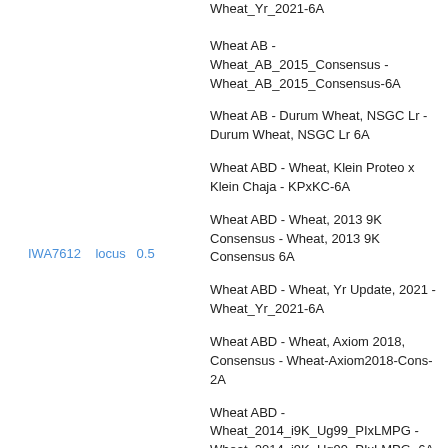Wheat_Yr_2021-6A
Wheat AB - Wheat_AB_2015_Consensus - Wheat_AB_2015_Consensus-6A
Wheat AB - Durum Wheat, NSGC Lr - Durum Wheat, NSGC Lr 6A
Wheat ABD - Wheat, Klein Proteo x Klein Chaja - KPxKC-6A
Wheat ABD - Wheat, 2013 9K Consensus - Wheat, 2013 9K Consensus 6A
IWA7612   locus   0.5
Wheat ABD - Wheat, Yr Update, 2021 - Wheat_Yr_2021-6A
Wheat ABD - Wheat, Axiom 2018, Consensus - Wheat-Axiom2018-Cons-2A
Wheat ABD - Wheat_2014_i9K_Ug99_PIxLMPG - Wheat_2014_i9K_Ug99_PIxLMPG_6A
Wheat ABD - Wheat, Axiom 2018, Consensus - Wheat-Axiom2018-Cons-